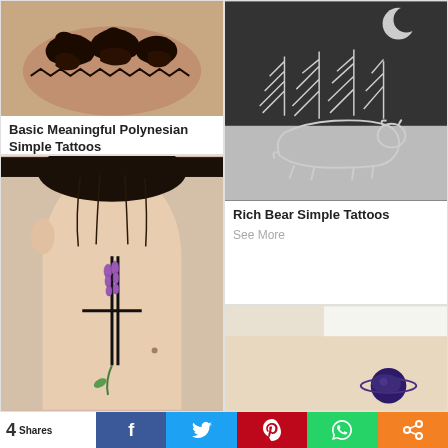[Figure (photo): Close-up photo of an arm with a black Polynesian-style tribal tattoo featuring bold curvilinear patterns]
Basic Meaningful Polynesian Simple Tattoos
See More
[Figure (photo): Black and white photo of a wrist with a bear and pine trees silhouette tattoo under a crescent moon]
Rich Bear Simple Tattoos
See More
[Figure (photo): Photo of back of a person's neck with a cross and floral lavender tattoo design]
[Figure (photo): Photo of a person's arm with a small galaxy or planet tattoo in purple tones]
4 Shares  f  Twitter  Pinterest  WhatsApp  Share